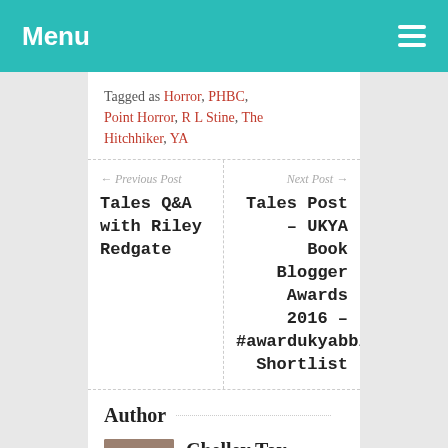Menu
tagged as Horror, PHBC, Point Horror, R L Stine, The Hitchhiker, YA
← Previous Post
Tales Q&A with Riley Redgate
Next Post →
Tales Post – UKYA Book Blogger Awards 2016 – #awardukyabbloggers Shortlist
Author
Chelley Toy
Author Website